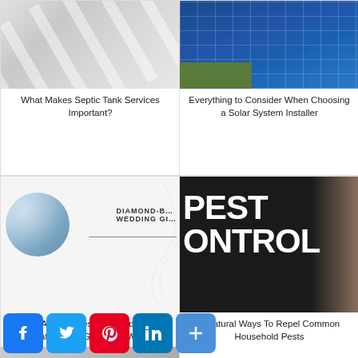[Figure (photo): Grey placeholder image for septic tank article]
What Makes Septic Tank Services Important?
[Figure (photo): Solar panels photo for solar system installer article]
Everything to Consider When Choosing a Solar System Installer
[Figure (photo): Diamond-based wedding gifts article thumbnail with circular botanical photo and text 'DIAMOND-BASED WEDDING GI']
What Are The Best Diamond-Based Gifts That Can Be Gifted For Weddings?
[Figure (photo): Pest control image with bold white text 'PEST CONTROL' on dark background with hand]
5 Natural Ways To Repel Common Household Pests